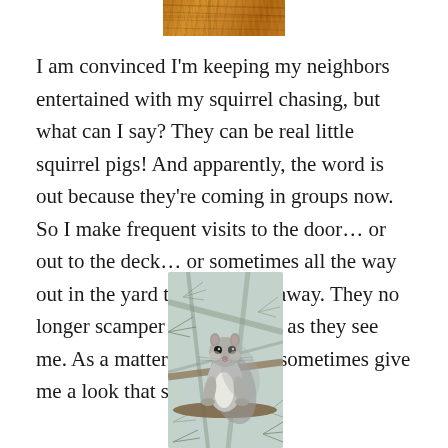[Figure (photo): Partial photo at top of page showing orange/golden fur of an animal being held by a hand, cropped at the bottom of the frame.]
I am convinced I'm keeping my neighbors entertained with my squirrel chasing, but what can I say? They can be real little squirrel pigs! And apparently, the word is out because they're coming in groups now. So I make frequent visits to the door… or out to the deck… or sometimes all the way out in the yard to shoo them away. They no longer scamper away as soon as they see me. As a matter of fact, they sometimes give me a look that says,
[Figure (photo): Photo of a gray squirrel sitting upright on a tree branch among pine needles, looking directly at the camera with a bold expression.]